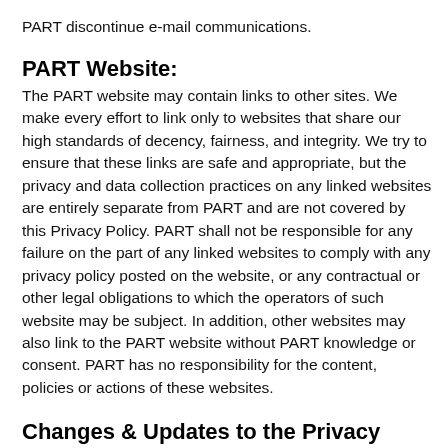PART discontinue e-mail communications.
PART Website:
The PART website may contain links to other sites. We make every effort to link only to websites that share our high standards of decency, fairness, and integrity. We try to ensure that these links are safe and appropriate, but the privacy and data collection practices on any linked websites are entirely separate from PART and are not covered by this Privacy Policy. PART shall not be responsible for any failure on the part of any linked websites to comply with any privacy policy posted on the website, or any contractual or other legal obligations to which the operators of such website may be subject. In addition, other websites may also link to the PART website without PART knowledge or consent. PART has no responsibility for the content, policies or actions of these websites.
Changes & Updates to the Privacy Policy: